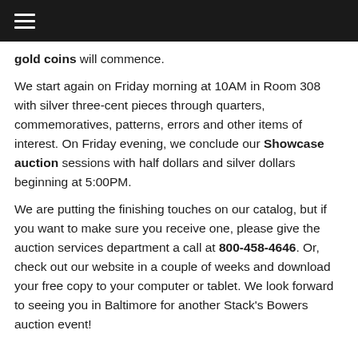☰ (hamburger menu icon)
gold coins will commence.
We start again on Friday morning at 10AM in Room 308 with silver three-cent pieces through quarters, commemoratives, patterns, errors and other items of interest. On Friday evening, we conclude our Showcase auction sessions with half dollars and silver dollars beginning at 5:00PM.
We are putting the finishing touches on our catalog, but if you want to make sure you receive one, please give the auction services department a call at 800-458-4646. Or, check out our website in a couple of weeks and download your free copy to your computer or tablet. We look forward to seeing you in Baltimore for another Stack's Bowers auction event!